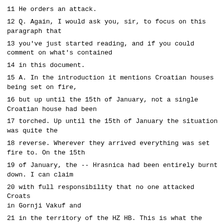11 He orders an attack.
12 Q. Again, I would ask you, sir, to focus on this paragraph that
13 you've just started reading, and if you could comment on what's contained
14 in this document.
15 A. In the introduction it mentions Croatian houses being set on fire,
16 but up until the 15th of January, not a single Croatian house had been
17 torched. Up until the 15th of January the situation was quite the
18 reverse. Wherever they arrived everything was set fire to. On the 15th
19 of January, the -- Hrasnica had been entirely burnt down. I can claim
20 with full responsibility that no one attacked Croats in Gornji Vakuf and
21 in the territory of the HZ HB. This is what the Main Staff refers to in